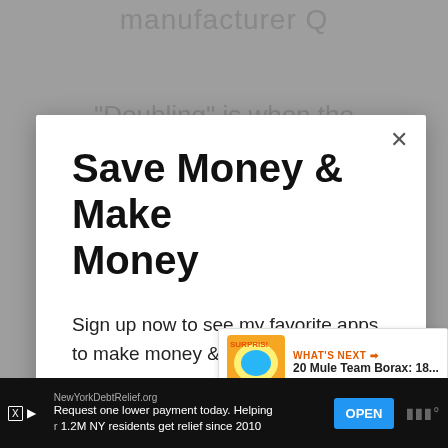manufacturer Q
“Doubling” is when the
Save Money & Make Money
Sign up now to see my favorite apps to make money & save money
Email address
Get It Now
[Figure (screenshot): What’s Next promotional banner showing '20 Mule Team Borax: 18...' with product image]
NewYorkDebtRelief.org
Request one lower payment today. Helping 1.2M NY residents get relief since 2010
OPEN